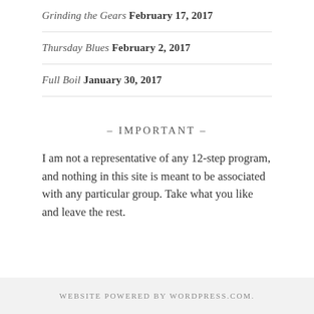Grinding the Gears February 17, 2017
Thursday Blues February 2, 2017
Full Boil January 30, 2017
- IMPORTANT -
I am not a representative of any 12-step program, and nothing in this site is meant to be associated with any particular group. Take what you like and leave the rest.
WEBSITE POWERED BY WORDPRESS.COM.